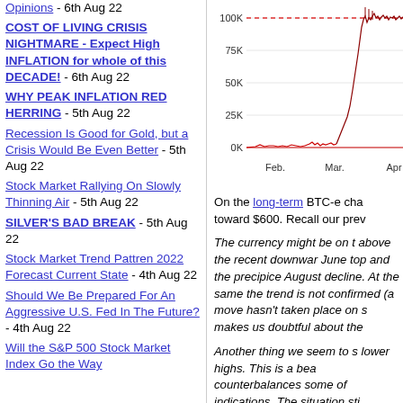Opinions - 6th Aug 22
COST OF LIVING CRISIS NIGHTMARE - Expect High INFLATION for whole of this DECADE! - 6th Aug 22
WHY PEAK INFLATION RED HERRING - 5th Aug 22
Recession Is Good for Gold, but a Crisis Would Be Even Better - 5th Aug 22
Stock Market Rallying On Slowly Thinning Air - 5th Aug 22
SILVER'S BAD BREAK - 5th Aug 22
Stock Market Trend Pattren 2022 Forecast Current State - 4th Aug 22
Should We Be Prepared For An Aggressive U.S. Fed In The Future? - 4th Aug 22
Will the S&P 500 Stock Market Index Go the Way
[Figure (continuous-plot): BTC price chart showing values from Feb to Apr, with y-axis labels 0K, 25K, 50K, 75K, 100K. A red dashed horizontal line near 100K. Price line shows near-zero values in Feb, spike activity near 0K range in Mar, then rise to near 100K with volatility in Apr area.]
On the long-term BTC-e cha toward $600. Recall our prev
The currency might be on t above the recent downwar June top and the precipice August decline. At the same the trend is not confirmed (a move hasn't taken place on s makes us doubtful about the
Another thing we seem to s lower highs. This is a bea counterbalances some of indications. The situation sti opinion.